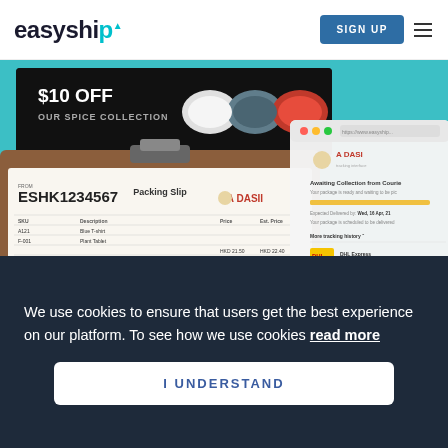easyship
[Figure (screenshot): Easyship website screenshot showing a packing slip on a clipboard labeled ESHK1234567, a spice collection promotion banner showing '$10 OFF OUR SPICE COLLECTION', and a package tracking interface showing 'Awaiting Collection from Courier' status with DHL Express carrier details. Background is teal/cyan colored.]
We use cookies to ensure that users get the best experience on our platform. To see how we use cookies read more
I UNDERSTAND